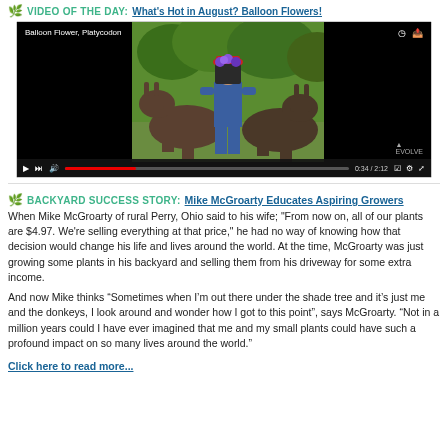VIDEO OF THE DAY: What's Hot in August? Balloon Flowers!
[Figure (screenshot): Video player showing a man in red hat and blue clothes holding flowers, flanked by two donkeys in a green outdoor setting. Video label: Balloon Flower, Platycodon. Controls visible at bottom with timestamp 0:34/2:12.]
BACKYARD SUCCESS STORY: Mike McGroarty Educates Aspiring Growers
When Mike McGroarty of rural Perry, Ohio said to his wife; "From now on, all of our plants are $4.97. We're selling everything at that price," he had no way of knowing how that decision would change his life and lives around the world. At the time, McGroarty was just growing some plants in his backyard and selling them from his driveway for some extra income.
And now Mike thinks “Sometimes when I’m out there under the shade tree and it’s just me and the donkeys, I look around and wonder how I got to this point”, says McGroarty. “Not in a million years could I have ever imagined that me and my small plants could have such a profound impact on so many lives around the world.”
Click here to read more...